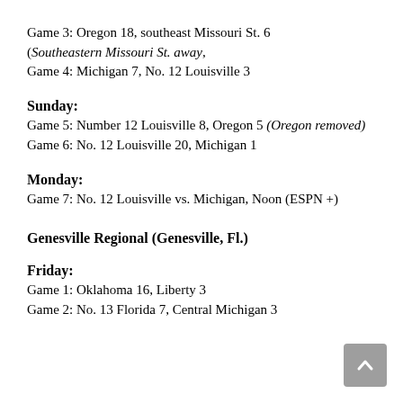Game 3: Oregon 18, southeast Missouri St. 6
(Southeastern Missouri St. away,
Game 4: Michigan 7, No. 12 Louisville 3
Sunday:
Game 5: Number 12 Louisville 8, Oregon 5 (Oregon removed)
Game 6: No. 12 Louisville 20, Michigan 1
Monday:
Game 7: No. 12 Louisville vs. Michigan, Noon (ESPN +)
Genesville Regional (Genesville, Fl.)
Friday:
Game 1: Oklahoma 16, Liberty 3
Game 2: No. 13 Florida 7, Central Michigan 3